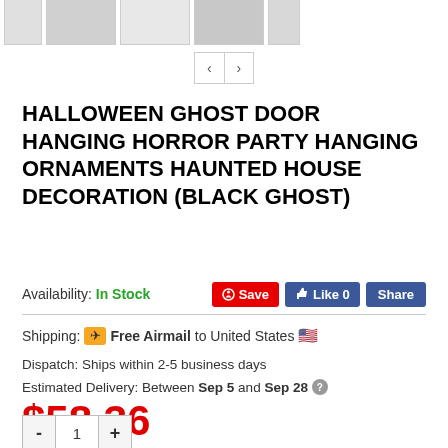[Figure (screenshot): Product thumbnail images row showing ghost decoration photos, partially cropped at top]
[Figure (screenshot): Navigation arrows left/right buttons]
HALLOWEEN GHOST DOOR HANGING HORROR PARTY HANGING ORNAMENTS HAUNTED HOUSE DECORATION (BLACK GHOST)
Availability: In Stock
Shipping: ✈ Free Airmail to United States 🇺🇸
Dispatch: Ships within 2-5 business days
Estimated Delivery: Between Sep 5 and Sep 28 ?
$58.36
- 1 +